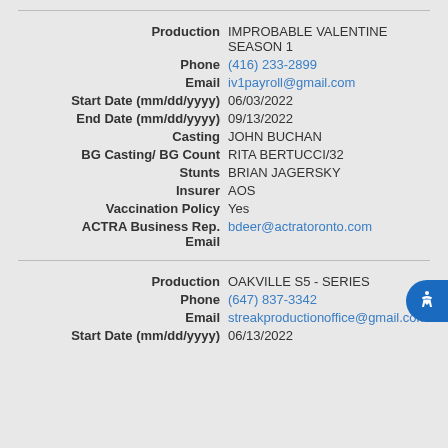Production: IMPROBABLE VALENTINE SEASON 1
Phone: (416) 233-2899
Email: iv1payroll@gmail.com
Start Date (mm/dd/yyyy): 06/03/2022
End Date (mm/dd/yyyy): 09/13/2022
Casting: JOHN BUCHAN
BG Casting/ BG Count: RITA BERTUCCI/32
Stunts: BRIAN JAGERSKY
Insurer: AOS
Vaccination Policy: Yes
ACTRA Business Rep. Email: bdeer@actratoronto.com
Production: OAKVILLE S5 - SERIES
Phone: (647) 837-3342
Email: streakproductionoffice@gmail.com
Start Date (mm/dd/yyyy): 06/13/2022